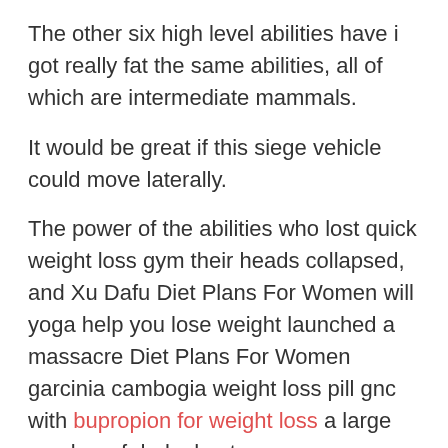The other six high level abilities have i got really fat the same abilities, all of which are intermediate mammals.
It would be great if this siege vehicle could move laterally.
The power of the abilities who lost quick weight loss gym their heads collapsed, and Xu Dafu Diet Plans For Women will yoga help you lose weight launched a massacre Diet Plans For Women garcinia cambogia weight loss pill gnc with bupropion for weight loss a large number of dark ghosts.
However, Yang Tian is absorbed at the third level, and the effect of attacking attributes does not appear.
Lei Xing looked at the few abilities around him. Stop Lei